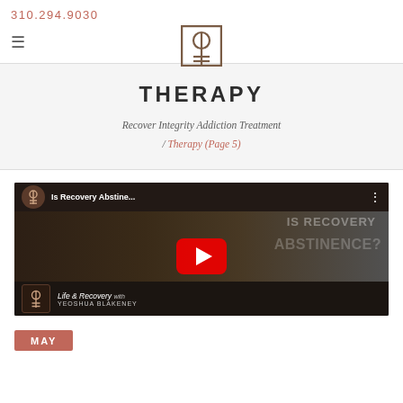310.294.9030
[Figure (logo): Recover Integrity logo — square icon with circular and cross motif]
THERAPY
Recover Integrity Addiction Treatment / Therapy (Page 5)
[Figure (screenshot): YouTube video thumbnail: Is Recovery Abstine... with play button. Life & Recovery show. Man in black shirt visible.]
MAY